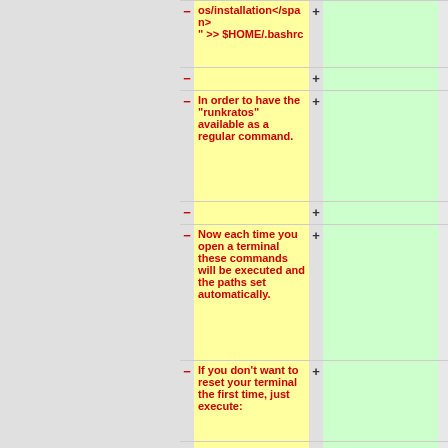os/installation</span>" >> $HOME/.bashrc
In order to have the "runkratos" available as a regular command.
Now each time you open a terminal these commands will be executed and the paths set automatically.
If you don't want to reset your terminal the first time, just execute:
source ~/.bashrc
=== Test ===
* Objectives: